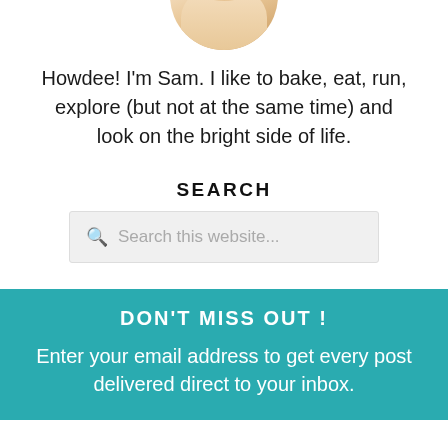[Figure (photo): Cropped circular photo of a blonde woman (Sam), showing the bottom portion at the top of the page]
Howdee! I'm Sam. I like to bake, eat, run, explore (but not at the same time) and look on the bright side of life.
SEARCH
Search this website...
DON'T MISS OUT !
Enter your email address to get every post delivered direct to your inbox.